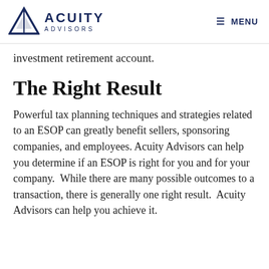ACUITY ADVISORS | MENU
investment retirement account.
The Right Result
Powerful tax planning techniques and strategies related to an ESOP can greatly benefit sellers, sponsoring companies, and employees. Acuity Advisors can help you determine if an ESOP is right for you and for your company.  While there are many possible outcomes to a transaction, there is generally one right result.  Acuity Advisors can help you achieve it.